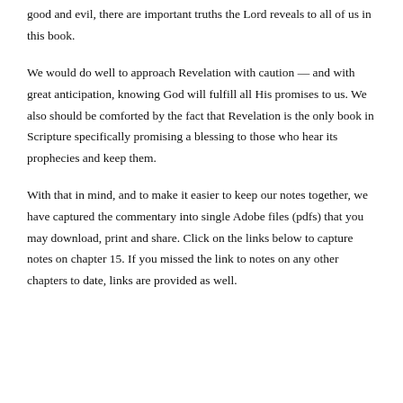good and evil, there are important truths the Lord reveals to all of us in this book.
We would do well to approach Revelation with caution — and with great anticipation, knowing God will fulfill all His promises to us. We also should be comforted by the fact that Revelation is the only book in Scripture specifically promising a blessing to those who hear its prophecies and keep them.
With that in mind, and to make it easier to keep our notes together, we have captured the commentary into single Adobe files (pdfs) that you may download, print and share. Click on the links below to capture notes on chapter 15. If you missed the link to notes on any other chapters to date, links are provided as well.